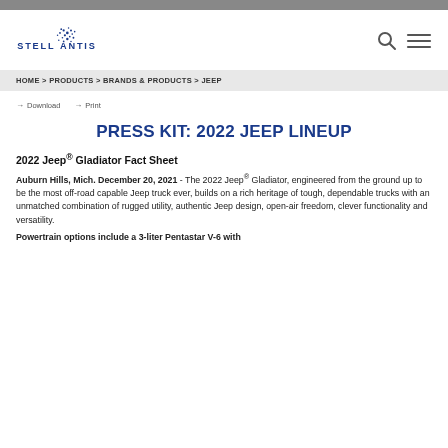[Figure (logo): Stellantis logo with stylized dot pattern and wordmark]
HOME > PRODUCTS > BRANDS & PRODUCTS > JEEP
→ Download  → Print
PRESS KIT: 2022 JEEP LINEUP
2022 Jeep® Gladiator Fact Sheet
Auburn Hills, Mich. December 20, 2021 - The 2022 Jeep® Gladiator, engineered from the ground up to be the most off-road capable Jeep truck ever, builds on a rich heritage of tough, dependable trucks with an unmatched combination of rugged utility, authentic Jeep design, open-air freedom, clever functionality and versatility.
Powertrain options include a 3-liter Pentastar V-6 with...